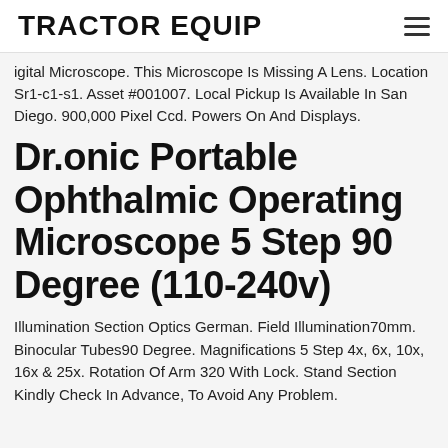TRACTOR EQUIP
igital Microscope. This Microscope Is Missing A Lens. Location Sr1-c1-s1. Asset #001007. Local Pickup Is Available In San Diego. 900,000 Pixel Ccd. Powers On And Displays.
Dr.onic Portable Ophthalmic Operating Microscope 5 Step 90 Degree (110-240v)
Illumination Section Optics German. Field Illumination70mm. Binocular Tubes90 Degree. Magnifications 5 Step 4x, 6x, 10x, 16x & 25x. Rotation Of Arm 320 With Lock. Stand Section Kindly Check In Advance, To Avoid Any Problem.